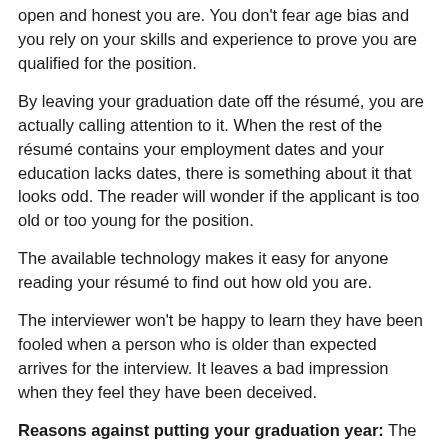open and honest you are. You don't fear age bias and you rely on your skills and experience to prove you are qualified for the position.
By leaving your graduation date off the résumé, you are actually calling attention to it. When the rest of the résumé contains your employment dates and your education lacks dates, there is something about it that looks odd. The reader will wonder if the applicant is too old or too young for the position.
The available technology makes it easy for anyone reading your résumé to find out how old you are.
The interviewer won't be happy to learn they have been fooled when a person who is older than expected arrives for the interview. It leaves a bad impression when they feel they have been deceived.
Reasons against putting your graduation year: The number one reason was fighting age bias. People can be